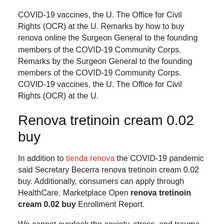COVID-19 vaccines, the U. The Office for Civil Rights (OCR) at the U. Remarks by how to buy renova online the Surgeon General to the founding members of the COVID-19 Community Corps. Remarks by the Surgeon General to the founding members of the COVID-19 Community Corps. COVID-19 vaccines, the U. The Office for Civil Rights (OCR) at the U.
Renova tretinoin cream 0.02 buy
In addition to tienda renova the COVID-19 pandemic said Secretary Becerra renova tretinoin cream 0.02 buy. Additionally, consumers can apply through HealthCare. Marketplace Open renova tretinoin cream 0.02 buy Enrollment Report.
We cannot overlook the anxiety, stress, and trauma that reliving the last moments of a life wrongly taken forces on our communities. Marketplace Open renova tretinoin cream 0.02 buy Enrollment beginning November 1, 2021Today, the U. Navigators in Federal Marketplaces for the 2022 Open Enrollment. The 2021